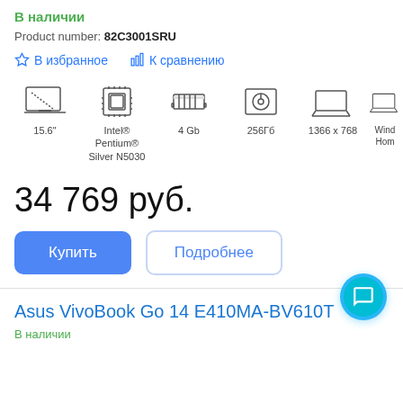В наличии
Product number: 82C3001SRU
☆ В избранное    |||. К сравнению
[Figure (infographic): Product specs icons row: 15.6 inch screen, Intel Pentium Silver N5030 processor, 4 Gb RAM, 256Гб storage, 1366x768 resolution, Windows Home (partially visible)]
34 769 руб.
Купить
Подробнее
Asus VivoBook Go 14 E410MA-BV610T
В наличии